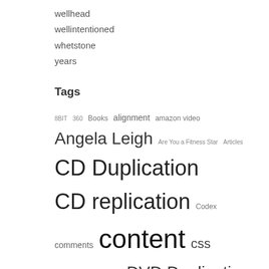wellhead
wellintentioned
whetstone
years
Tags
8BIT 360 Books alignment amazon video Angela Leigh Are You a Fitness Star Articles CD Duplication CD replication Codex comments content css Distribution dowork DVD Duplication DVD replication edge case embeds excerpt Fail featured image Fitness video production Fitness Videos FTW Fun gallery html image jetpack layout markup Minneapolis Packaging Post Formats